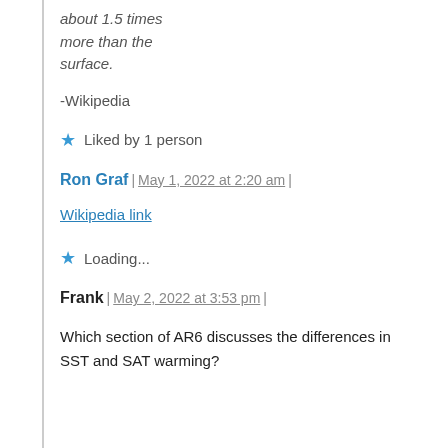about 1.5 times more than the surface.
-Wikipedia
★ Liked by 1 person
Ron Graf | May 1, 2022 at 2:20 am |
Wikipedia link
★ Loading...
Frank | May 2, 2022 at 3:53 pm |
Which section of AR6 discusses the differences in SST and SAT warming?